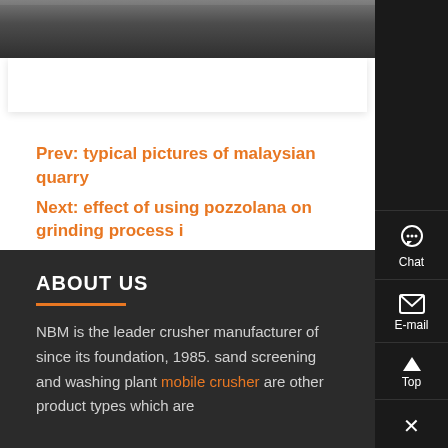[Figure (photo): Partial view of industrial/quarry machinery photo at top of page, cropped]
Prev: typical pictures of malaysian quarry
Next: effect of using pozzolana on grinding process in us
ABOUT US
NBM is the leader crusher manufacturer of since its foundation, 1985. sand screening and washing plant mobile crusher are other product types which are